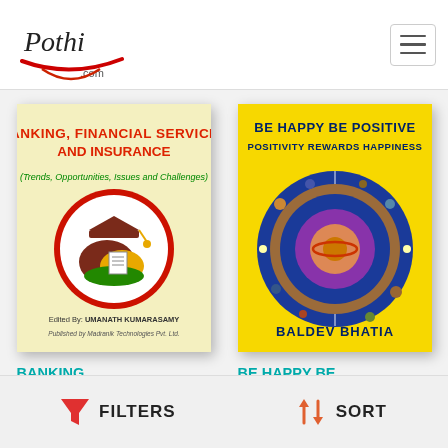Pothi.com
[Figure (illustration): Book cover: Banking, Financial Services and Insurance (Trends, Opportunities, Issues and Challenges), Edited By: UMANATH KUMARASAMY, Published by Madranik Technologies Pvt. Ltd., yellow-green background with red circle and graduation caps graphic]
[Figure (illustration): Book cover: Be Happy Be Positive - Positivity Rewards Happiness, by Baldev Bhatia, yellow background with solar system / planets circular diagram]
BANKING, FINANCIAL
BE HAPPY BE POSITIVE
FILTERS   SORT